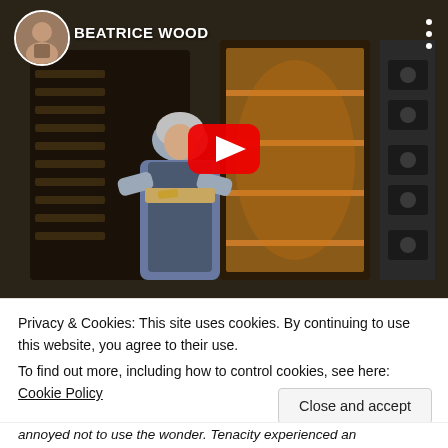[Figure (screenshot): YouTube video thumbnail showing an elderly woman (Beatrice Wood) loading a ceramic kiln. Channel avatar and name 'BEATRICE WOOD' shown at top left. YouTube play button in center. Three-dot menu at top right.]
Privacy & Cookies: This site uses cookies. By continuing to use this website, you agree to their use.
To find out more, including how to control cookies, see here: Cookie Policy
Close and accept
annoyed not to use the wonder. Tenacity experienced an